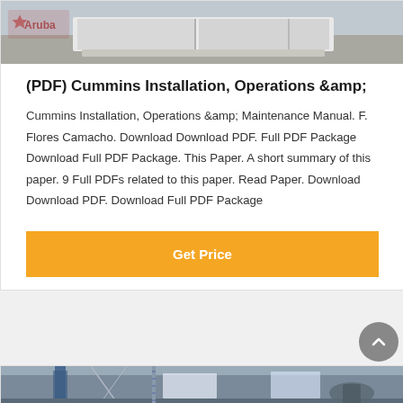[Figure (photo): Industrial equipment photo with Aruba logo watermark, showing white rectangular units on a factory floor]
(PDF) Cummins Installation, Operations &amp;
Cummins Installation, Operations &amp; Maintenance Manual. F. Flores Camacho. Download Download PDF. Full PDF Package Download Full PDF Package. This Paper. A short summary of this paper. 9 Full PDFs related to this paper. Read Paper. Download Download PDF. Download Full PDF Package
[Figure (other): Get Price button - orange/yellow button]
[Figure (photo): Industrial facility interior photo showing machinery, scaffolding, and warehouse structure with blue columns]